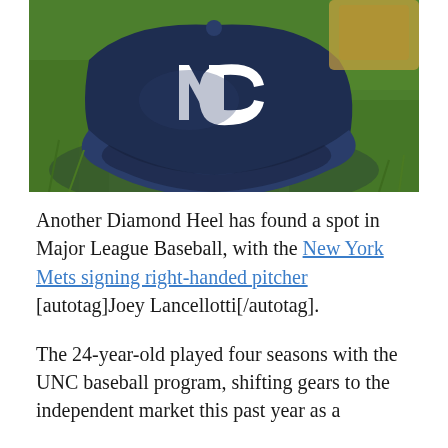[Figure (photo): A navy blue UNC (North Carolina) baseball cap with white interlocking NC logo, lying on green grass, with part of another item visible in the top right corner.]
Another Diamond Heel has found a spot in Major League Baseball, with the New York Mets signing right-handed pitcher [autotag]Joey Lancellotti[/autotag].
The 24-year-old played four seasons with the UNC baseball program, shifting gears to the independent market this past year as a